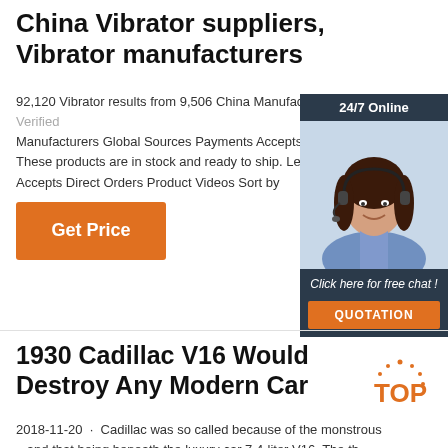China Vibrator suppliers, Vibrator manufacturers
92,120 Vibrator results from 9,506 China Manufacturers Verified Manufacturers Global Sources Payments Accepts S... These products are in stock and ready to ship. Lea... Accepts Direct Orders Product Videos Sort by
[Figure (infographic): Orange 'Get Price' button]
[Figure (infographic): 24/7 Online chat widget with woman wearing headset, 'Click here for free chat!' text, and QUOTATION button]
1930 Cadillac V16 Would Destroy Any Modern Car
[Figure (logo): TOP logo with orange text and decorative dots]
2018-11-20 · Cadillac was so called because of the monstrous ...and that being beneath the luxury car 7.4-liter V16. The th...